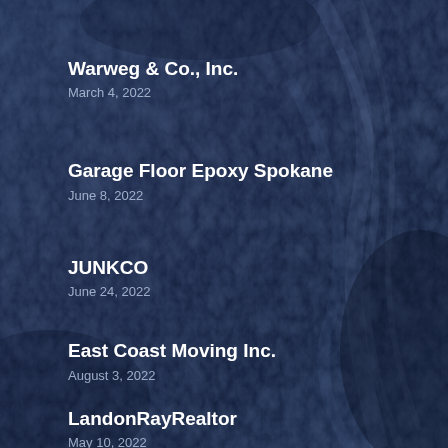Warweg & Co., Inc.
March 4, 2022
Garage Floor Epoxy Spokane
June 8, 2022
JUNKCO
June 24, 2022
East Coast Moving Inc.
August 3, 2022
LandonRayRealtor
May 10, 2022